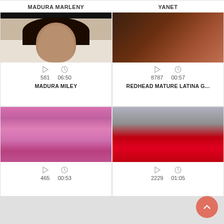MADURA MARLENY
[Figure (photo): Thumbnail of a woman with dark hair]
581   06:50
MADURA MILEY
YANET
[Figure (photo): Thumbnail of a redhead woman]
8787   00:57
REDHEAD MATURE LATINA G...
[Figure (photo): Thumbnail of a pink-haired woman in a pink room with stuffed animals]
465   00:53
[Figure (photo): Thumbnail of a woman in red lingerie]
2229   01:05